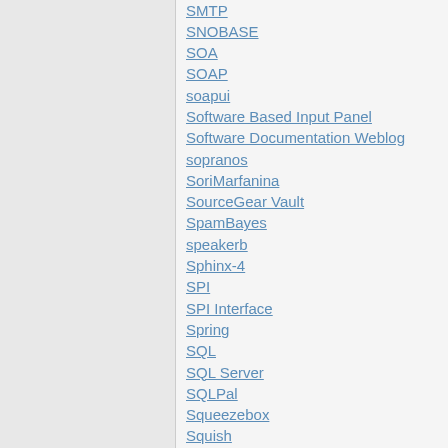SMTP
SNOBASE
SOA
SOAP
soapui
Software Based Input Panel
Software Documentation Weblog
sopranos
SoriMarfanina
SourceGear Vault
SpamBayes
speakerb
Sphinx-4
SPI
SPI Interface
Spring
SQL
SQL Server
SQLPal
Squeezebox
Squish
srinivas
Staffware
Star Schema
start
stefan
Stepbai
steve
stronk
Subversion